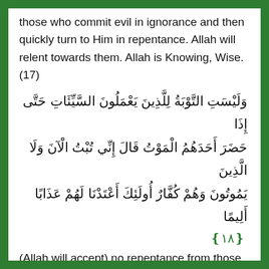those who commit evil in ignorance and then quickly turn to Him in repentance. Allah will relent towards them. Allah is Knowing, Wise. (17)
وَلَيْسَتِ التَّوْبَةُ لِلَّذِينَ يَعْمَلُونَ السَّيِّئَاتِ حَتَّى إِذَا حَضَرَ أَحَدَهُمُ الْمَوْتُ قَالَ إِنِّي تُبْتُ الْآنَ وَلَا الَّذِينَ يَمُوتُونَ وَهُمْ كُفَّارٌ أُولَئِكَ أَعْتَدْنَا لَهُمْ عَذَابًا أَلِيمًا ﴿١٨﴾
(Allah will accept) no repentance from those who do evil deeds until death comes